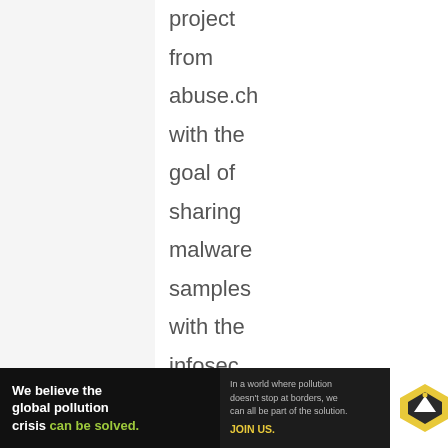project from abuse.ch with the goal of sharing malware samples with the infosec community, AV vendors and threat intelligence providers.
MalwareBazaar
[Figure (infographic): Advertisement banner for Pure Earth: 'We believe the global pollution crisis can be solved.' with text about global pollution and JOIN US call to action, alongside Pure Earth logo.]